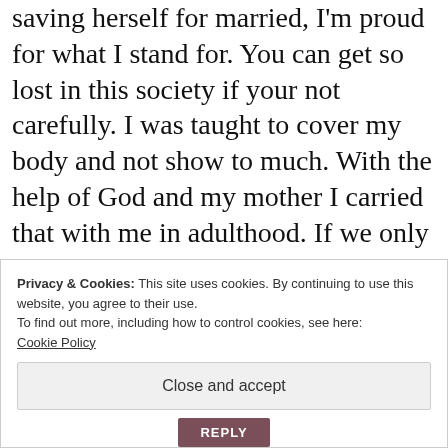saving herself for married, I'm proud for what I stand for. You can get so lost in this society if your not carefully. I was taught to cover my body and not show to much. With the help of God and my mother I carried that with me in adulthood. If we only knew how precious we are as womens, society wouldn't be the way it is now. Again, thank you
Privacy & Cookies: This site uses cookies. By continuing to use this website, you agree to their use.
To find out more, including how to control cookies, see here:
Cookie Policy
Close and accept
REPLY